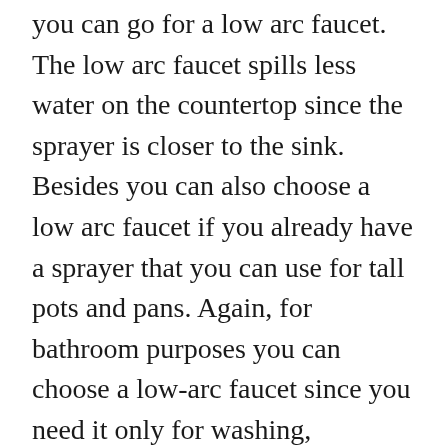you can go for a low arc faucet. The low arc faucet spills less water on the countertop since the sprayer is closer to the sink. Besides you can also choose a low arc faucet if you already have a sprayer that you can use for tall pots and pans. Again, for bathroom purposes you can choose a low-arc faucet since you need it only for washing, brushing teeth, etc. opt for a low-arc faucet if you have a small sink so the flow of water doesn't overpower the sink.
Widespread V/S Centerset: